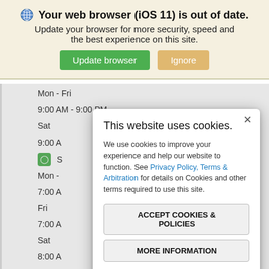[Figure (screenshot): Browser update warning banner with globe icon, bold title 'Your web browser (iOS 11) is out of date.', subtitle text, and two buttons: 'Update browser' (green) and 'Ignore' (tan/orange)]
Mon - Fri
9:00 AM - 9:00 PM
Sat
9:00 A
Mon -
7:00 A
Fri
7:00 A
Sat
8:00 A
Sun
[Figure (screenshot): Cookie consent modal dialog with title 'This website uses cookies.', body text, a blue link 'Privacy Policy, Terms & Arbitration', two buttons 'ACCEPT COOKIES & POLICIES' and 'MORE INFORMATION', a divider, and a 'Privacy Policy' link at the bottom. Has an X close button in the top-right corner.]